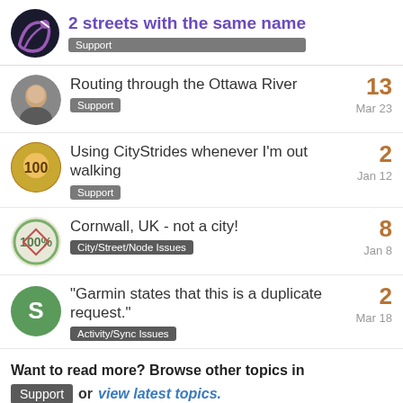2 streets with the same name — Support
Routing through the Ottawa River — Support — 13 — Mar 23
Using CityStrides whenever I'm out walking — Support — 2 — Jan 12
Cornwall, UK - not a city! — City/Street/Node Issues — 8 — Jan 8
"Garmin states that this is a duplicate request." — Activity/Sync Issues — 2 — Mar 18
Want to read more? Browse other topics in Support or view latest topics.